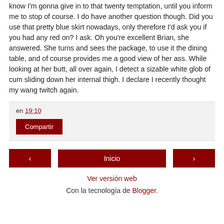know I'm gonna give in to that twenty temptation, until you inform me to stop of course. I do have another question though. Did you use that pretty blue skirt nowadays, only therefore I'd ask you if you had any red on? I ask. Oh you're excellent Brian, she answered. She turns and sees the package, to use it the dining table, and of course provides me a good view of her ass. While looking at her butt, all over again, I detect a sizable white glob of cum sliding down her internal thigh. I declare I recently thought my wang twitch again.
en 19:10
Compartir
‹
Inicio
›
Ver versión web
Con la tecnología de Blogger.